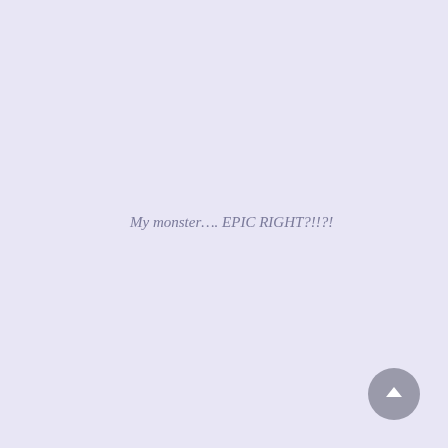My monster…. EPIC RIGHT?!!?!
[Figure (other): A circular scroll-to-top button with an upward-pointing chevron arrow, gray colored, positioned at the bottom-right corner of the page.]